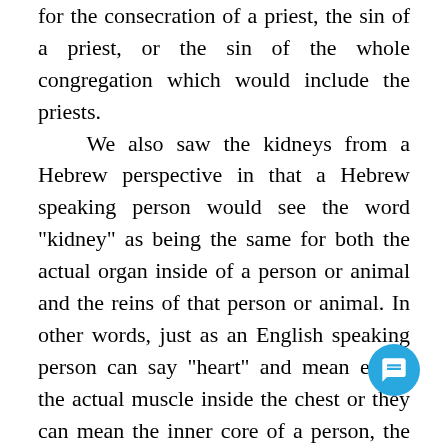for the consecration of a priest, the sin of a priest, or the sin of the whole congregation which would include the priests. We also saw the kidneys from a Hebrew perspective in that a Hebrew speaking person would see the word "kidney" as being the same for both the actual organ inside of a person or animal and the reins of that person or animal. In other words, just as an English speaking person can say "heart" and mean either the actual muscle inside the chest or they can mean the inner core of a person, the Hebrew speaking person saying "kidney" can mean either the organ or the part of a person